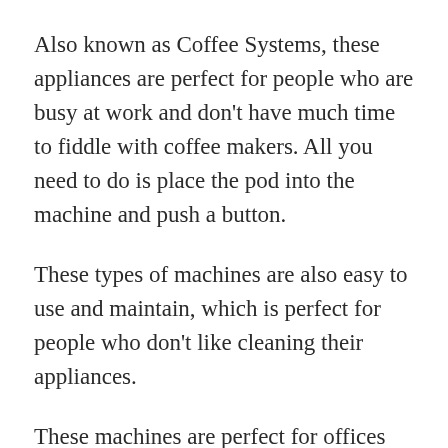Also known as Coffee Systems, these appliances are perfect for people who are busy at work and don't have much time to fiddle with coffee makers. All you need to do is place the pod into the machine and push a button.
These types of machines are also easy to use and maintain, which is perfect for people who don't like cleaning their appliances.
These machines are perfect for offices because many different drinks can be made at the same time thanks to their large capacities.